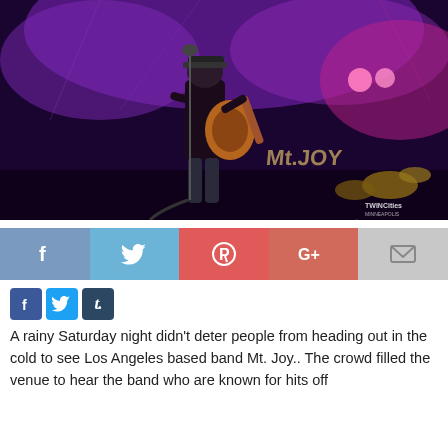[Figure (photo): Concert photo of a guitarist performing on stage with purple/pink stage lighting, a drum kit visible in the background, and 'Mt. Joy' text on a banner behind the performer.]
[Figure (infographic): Social share bar with Facebook (blue), Twitter (light blue), Pinterest (red), Google+ (orange-red), and Email (gray) buttons with their respective icons.]
[Figure (infographic): Small social media icons: Facebook (blue square with 'f'), Twitter (blue square with bird), Tumblr (dark blue square with 't.').]
A rainy Saturday night didn't deter people from heading out in the cold to see Los Angeles based band Mt. Joy.. The crowd filled the venue to hear the band who are known for hits off